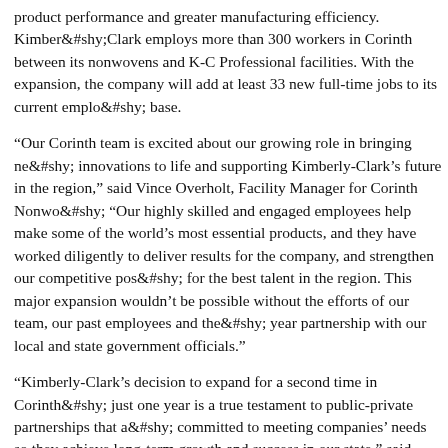product performance and greater manufacturing efficiency. Kimberly-Clark employs more than 300 workers in Corinth between its nonwovens and K-C Professional facilities. With the expansion, the company will add at least 33 new full-time jobs to its current employment base.
“Our Corinth team is excited about our growing role in bringing new innovations to life and supporting Kimberly-Clark’s future in the region,” said Vince Overholt, Facility Manager for Corinth Nonwovens. “Our highly skilled and engaged employees help make some of the world’s most essential products, and they have worked diligently to deliver results for the company, and strengthen our competitive position for the best talent in the region. This major expansion wouldn’t be possible without the efforts of our team, our past employees and the many year partnership with our local and state government officials.”
“Kimberly-Clark’s decision to expand for a second time in Corinth in just one year is a true testament to public-private partnerships that are committed to meeting companies’ needs so they achieve long-term growth and success in our state,” said MDA Interim Director John Rounsaville. “The Mississippi Development Authority is grateful to the leadership at The Alliance, Alcorn County and the Tennessee Valley Authority. Their dedication to building stronger communities through job creation once again pays off for Alcorn County as dozens of new